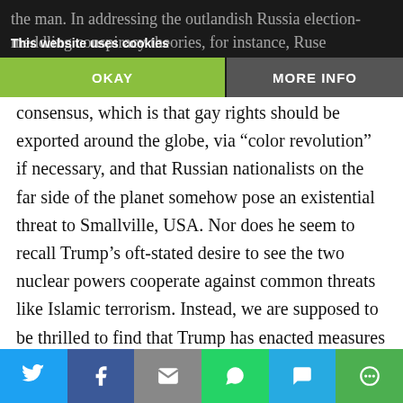the man. In addressing the outlandish Russia election-meddling conspiracy theories, for instance, Ruse [challenges the current]
This website uses cookies
OKAY    MORE INFO
consensus, which is that gay rights should be exported around the globe, via “color revolution” if necessary, and that Russian nationalists on the far side of the planet somehow pose an existential threat to Smallville, USA. Nor does he seem to recall Trump’s oft-stated desire to see the two nuclear powers cooperate against common threats like Islamic terrorism. Instead, we are supposed to be thrilled to find that Trump has enacted measures which “directly threatened the economy of Russia” and “sent lethal weapons to Putin’s enemies, the Ukrainians,” as if
[Figure (infographic): Social share bar with icons for Twitter, Facebook, Email, WhatsApp, SMS, and More]